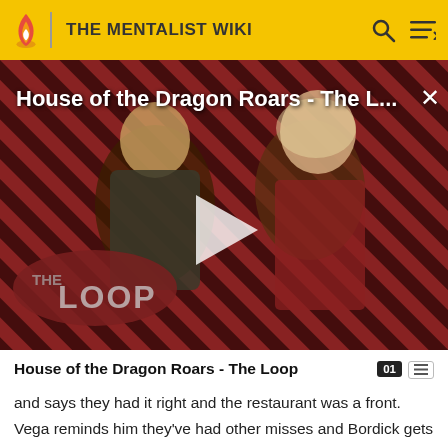THE MENTALIST WIKI
[Figure (screenshot): Video thumbnail for House of the Dragon Roars - The Loop, showing two characters from the show on a striped red/dark background with The Loop logo overlay and a play button in the center.]
House of the Dragon Roars - The Loop
and says they had it right and the restaurant was a front. Vega reminds him they've had other misses and Bordick gets snippy with them. Vega tells Orosco it's okay when